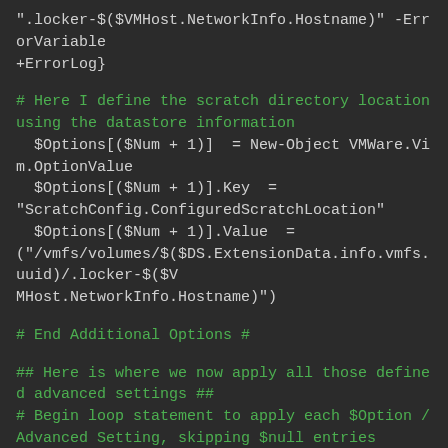".locker-$($VMHost.NetworkInfo.Hostname)" -ErrorVariable +ErrorLog}
# Here I define the scratch directory location using the datastore information
  $Options[($Num + 1)]  = New-Object VMWare.Vim.OptionValue
  $Options[($Num + 1)].Key  = "ScratchConfig.ConfiguredScratchLocation"
  $Options[($Num + 1)].Value  = ("/vmfs/volumes/$($DS.ExtensionData.info.vmfs.uuid)/.locker-$($VMHost.NetworkInfo.Hostname)")
# End Additional Options #
## Here is where we now apply all those defined advanced settings ##
# Begin loop statement to apply each $Option / Advanced Setting, skipping $null entries